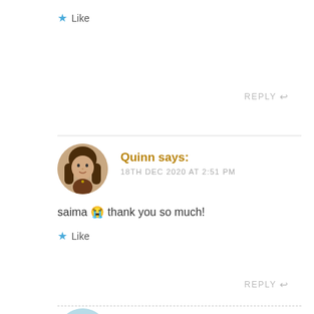★ Like
REPLY ↩
Quinn says:
18TH DEC 2020 AT 2:51 PM
saima 😭 thank you so much!
★ Like
REPLY ↩
ahaana @ Windows to Worlds says:
18TH DEC 2020 AT 2:52 PM